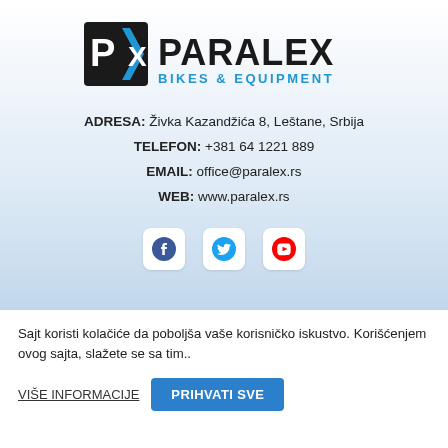[Figure (logo): PX Paralex Bikes & Equipment logo: black square with PX and a blue arrow, followed by bold black PARALEX and blue BIKES & EQUIPMENT text]
ADRESA: Živka Kazandžića 8, Leštane, Srbija
TELEFON: +381 64 1221 889
EMAIL: office@paralex.rs
WEB: www.paralex.rs
[Figure (illustration): Three social media icons (Facebook, Twitter/X, YouTube) in white rounded boxes]
Sajt koristi kolačiće da poboljša vaše korisničko iskustvo. Korišćenjem ovog sajta, slažete se sa tim..
VIŠE INFORMACIJE   PRIHVATI SVE